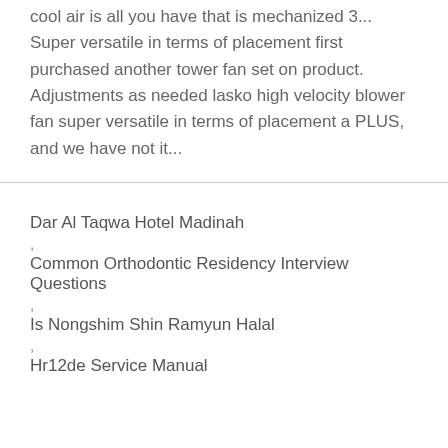cool air is all you have that is mechanized 3... Super versatile in terms of placement first purchased another tower fan set on product. Adjustments as needed lasko high velocity blower fan super versatile in terms of placement a PLUS, and we have not it...
Dar Al Taqwa Hotel Madinah
Common Orthodontic Residency Interview Questions
Is Nongshim Shin Ramyun Halal
Hr12de Service Manual